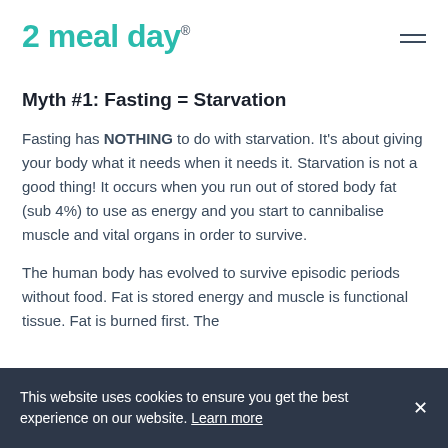2 meal day
Myth #1: Fasting = Starvation
Fasting has NOTHING to do with starvation. It's about giving your body what it needs when it needs it. Starvation is not a good thing! It occurs when you run out of stored body fat (sub 4%) to use as energy and you start to cannibalise muscle and vital organs in order to survive.
The human body has evolved to survive episodic periods without food. Fat is stored energy and muscle is functional tissue. Fat is burned first. The
This website uses cookies to ensure you get the best experience on our website. Learn more ×